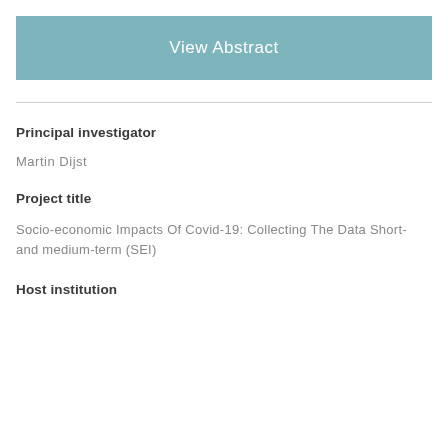View Abstract
Principal investigator
Martin Dijst
Project title
Socio-economic Impacts Of Covid-19: Collecting The Data Short- and medium-term (SEI)
Host institution